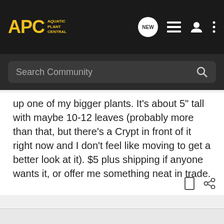APC Aquatic Plant Central
Search Community
up one of my bigger plants. It's about 5" tall with maybe 10-12 leaves (probably more than that, but there's a Crypt in front of it right now and I don't feel like moving to get a better look at it). $5 plus shipping if anyone wants it, or offer me something neat in trade.

Getting new bins ready for hauling in the plants in a few weeks. Not looking forward to all the yard work 😛
I Grow Tasty Plants!